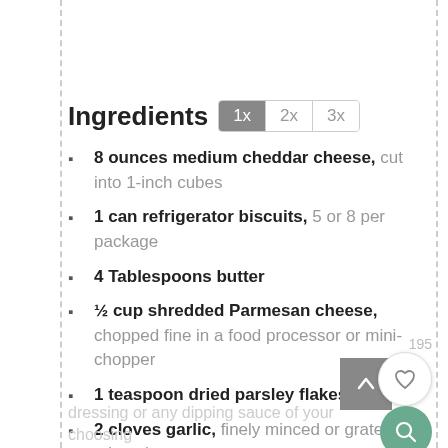Ingredients  1x  2x  3x
8 ounces medium cheddar cheese, cut into 1-inch cubes
1 can refrigerator biscuits, 5 or 8 per package
4 Tablespoons butter
½ cup shredded Parmesan cheese, chopped fine in a food processor or mini-chopper
1 teaspoon dried parsley flakes
2 cloves garlic, finely minced or grated in a microplane grater
Optional, Sriracha and mayonnaise for Sriracha-mayo, hot sauce, salsa, ranch
dressing or any dipping sauce of your choosing